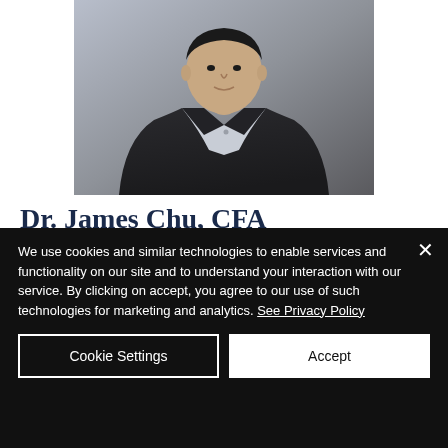[Figure (photo): Professional headshot of Dr. James Chu wearing a dark pinstripe suit and light blue collared shirt, photographed against a grey background]
Dr. James Chu, CFA
Business Strategy  &  Financial Consultant
We use cookies and similar technologies to enable services and functionality on our site and to understand your interaction with our service. By clicking on accept, you agree to our use of such technologies for marketing and analytics. See Privacy Policy
Cookie Settings
Accept